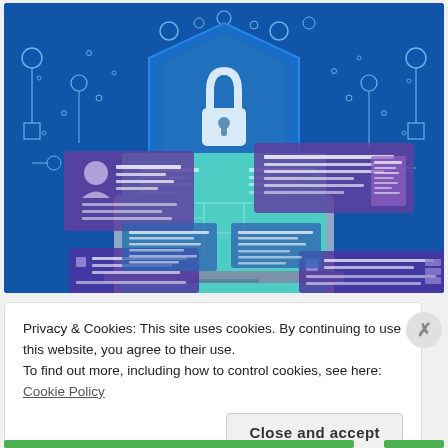[Figure (illustration): Digital security illustration on a dark blue background showing a large padlock on a shield in the center, a laptop with a teal/cyan screen displaying data panels and circuit lines, surrounded by floating document/data panels with icons and text lines, and decorative circuit-board nodes and lines on the sides.]
Privacy & Cookies: This site uses cookies. By continuing to use this website, you agree to their use.
To find out more, including how to control cookies, see here:
Cookie Policy
Close and accept